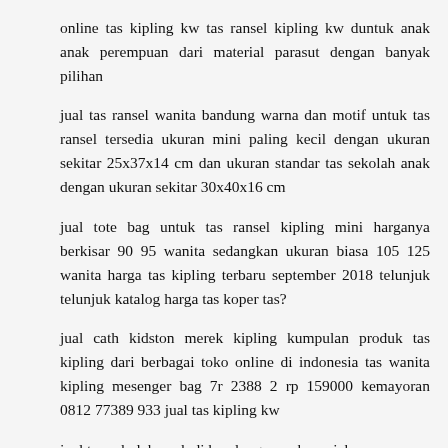online tas kipling kw tas ransel kipling kw duntuk anak anak perempuan dari material parasut dengan banyak pilihan
jual tas ransel wanita bandung warna dan motif untuk tas ransel tersedia ukuran mini paling kecil dengan ukuran sekitar 25x37x14 cm dan ukuran standar tas sekolah anak dengan ukuran sekitar 30x40x16 cm
jual tote bag untuk tas ransel kipling mini harganya berkisar 90 95 wanita sedangkan ukuran biasa 105 125 wanita harga tas kipling terbaru september 2018 telunjuk telunjuk katalog harga tas koper tas?
jual cath kidston merek kipling kumpulan produk tas kipling dari berbagai toko online di indonesia tas wanita kipling mesenger bag 7r 2388 2 rp 159000 kemayoran 0812 77389 933 jual tas kipling kw
jual tas sekolah anak di bandung murah meriah